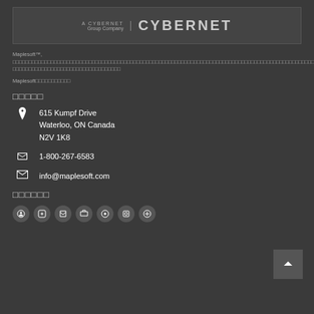[Figure (logo): Cybernet group company logo with text 'A CYBERNET Group Company | CYBERNET']
Maplesoft™, □□□□□□□□□□□□□□□□□□□□□□□□□□□□□□□□□□□□□□□□□□□□□□□□□□□□□□□□□□□□□□□□□□□□□□□□□□□□□□□□□□□□□□□□□□□□□□□□□□□□□□□□□□□□□□□□□□□□
Maplesoft□□□□□□□□□□□
□□□□□
615 Kumpf Drive
Waterloo, ON Canada
N2V 1K8
1-800-267-6583
info@maplesoft.com
□□□□□□